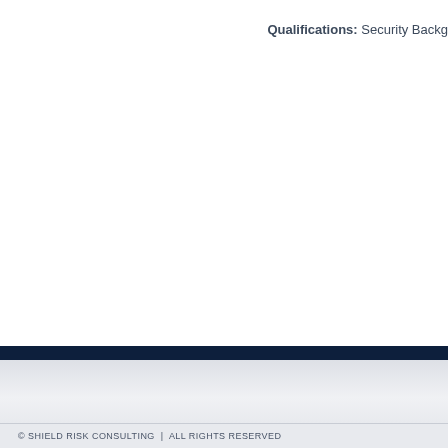Qualifications: Security Backg
© SHIELD RISK CONSULTING  |  ALL RIGHTS RESERVED